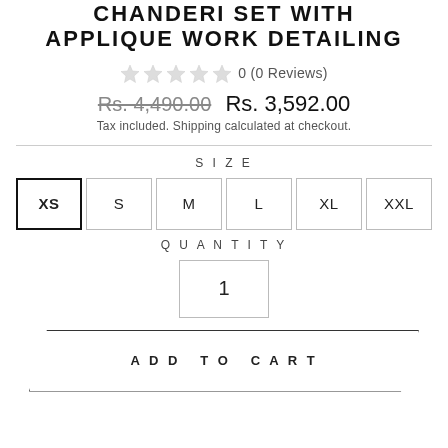CHANDERI SET WITH APPLIQUE WORK DETAILING
0 (0 Reviews)
Rs. 4,490.00  Rs. 3,592.00
Tax included. Shipping calculated at checkout.
SIZE
XS S M L XL XXL
QUANTITY
1
ADD TO CART